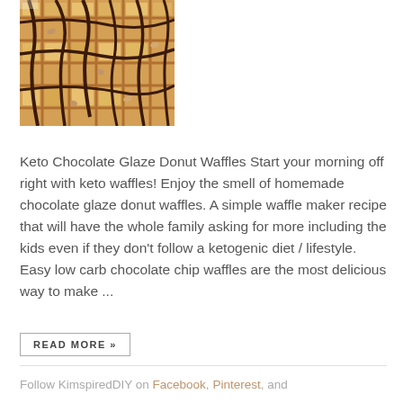[Figure (photo): Close-up photo of chocolate glaze drizzled waffle pieces with nuts]
Keto Chocolate Glaze Donut Waffles Start your morning off right with keto waffles! Enjoy the smell of homemade chocolate glaze donut waffles. A simple waffle maker recipe that will have the whole family asking for more including the kids even if they don't follow a ketogenic diet / lifestyle. Easy low carb chocolate chip waffles are the most delicious way to make ...
READ MORE »
Follow KimspiredDIY on Facebook, Pinterest, and